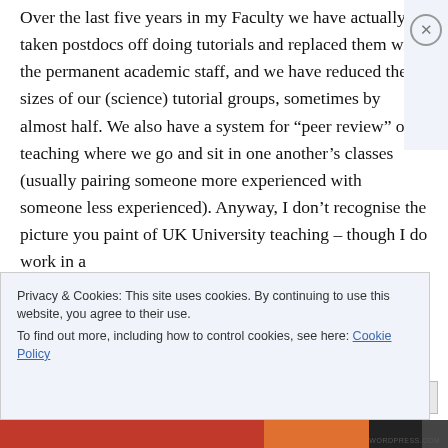Over the last five years in my Faculty we have actually taken postdocs off doing tutorials and replaced them with the permanent academic staff, and we have reduced the sizes of our (science) tutorial groups, sometimes by almost half. We also have a system for “peer review” of teaching where we go and sit in one another’s classes (usually pairing someone more experienced with someone less experienced). Anyway, I don’t recognise the picture you paint of UK University teaching – though I do work in a
Privacy & Cookies: This site uses cookies. By continuing to use this website, you agree to their use.
To find out more, including how to control cookies, see here: Cookie Policy